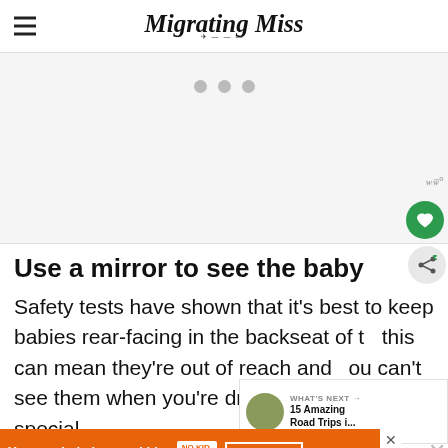Migrating Miss
[Figure (photo): Image placeholder area with three dots indicating a loading carousel or image slider]
Use a mirror to see the baby
Safety tests have shown that it’s best to keep babies rear-facing in the backseat of t’ this can mean they’re out of reach and you can’t see them when you’re driving. We have a special mi e seat in
[Figure (infographic): What's Next panel: 15 Amazing Road Trips i...]
[Figure (infographic): Advertisement banner: You can help hungry kids. No Kid Hungry. LEARN HOW]